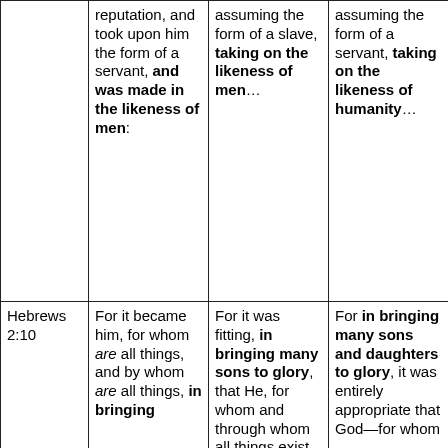|  | reputation, and took upon him the form of a servant, and was made in the likeness of men: | assuming the form of a slave, taking on the likeness of men… | assuming the form of a servant, taking on the likeness of humanity… |
| Hebrews 2:10 | For it became him, for whom are all things, and by whom are all things, in bringing | For it was fitting, in bringing many sons to glory, that He, for whom and through whom all things exist… | For in bringing many sons and daughters to glory, it was entirely appropriate that God—for whom |